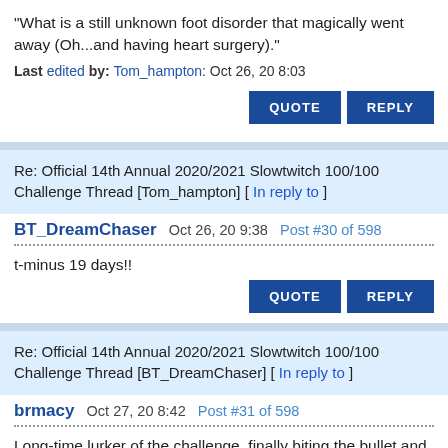"What is a still unknown foot disorder that magically went away (Oh...and having heart surgery)."
Last edited by: Tom_hampton: Oct 26, 20 8:03
QUOTE   REPLY
Re: Official 14th Annual 2020/2021 Slowtwitch 100/100 Challenge Thread [Tom_hampton] [ In reply to ]
BT_DreamChaser  Oct 26, 20 9:38  Post #30 of 598
t-minus 19 days!!
QUOTE   REPLY
Re: Official 14th Annual 2020/2021 Slowtwitch 100/100 Challenge Thread [BT_DreamChaser] [ In reply to ]
brmacy  Oct 27, 20 8:42  Post #31 of 598
Long-time lurker of the challenge, finally biting the bullet and